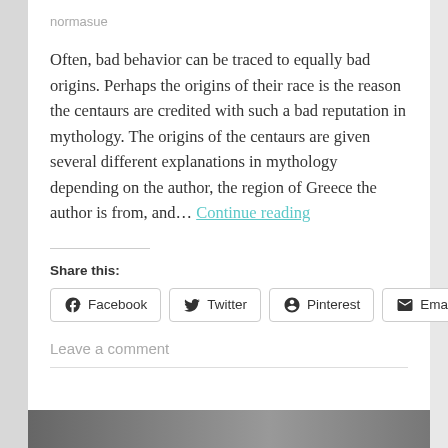normasue
Often, bad behavior can be traced to equally bad origins. Perhaps the origins of their race is the reason the centaurs are credited with such a bad reputation in mythology. The origins of the centaurs are given several different explanations in mythology depending on the author, the region of Greece the author is from, and… Continue reading
Share this:
[Figure (other): Social share buttons: Facebook, Twitter, Pinterest, Email]
Leave a comment
[Figure (photo): Partial image at bottom of page, dark/grayscale]